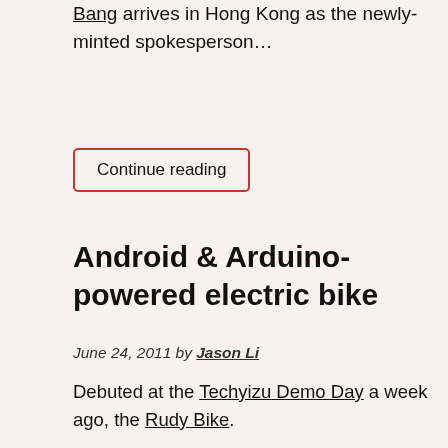Bang arrives in Hong Kong as the newly-minted spokesperson…
Continue reading
Android & Arduino-powered electric bike
June 24, 2011 by Jason Li
Debuted at the Techyizu Demo Day a week ago, the Rudy Bike.
Via 新车间, the hackerspace in Shanghai.